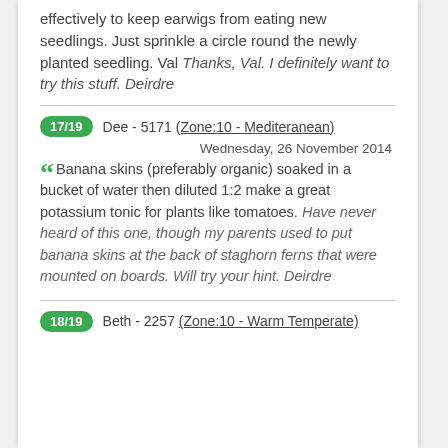effectively to keep earwigs from eating new seedlings. Just sprinkle a circle round the newly planted seedling. Val Thanks, Val. I definitely want to try this stuff. Deirdre
17/19  Dee - 5171 (Zone:10 - Mediteranean)
Wednesday, 26 November 2014
Banana skins (preferably organic) soaked in a bucket of water then diluted 1:2 make a great potassium tonic for plants like tomatoes. Have never heard of this one, though my parents used to put banana skins at the back of staghorn ferns that were mounted on boards. Will try your hint. Deirdre
18/19  Beth - 2257 (Zone:10 - Warm Temperate)